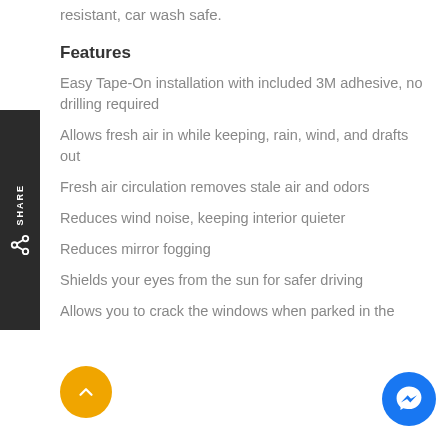resistant, car wash safe.
Features
Easy Tape-On installation with included 3M adhesive, no drilling required
Allows fresh air in while keeping, rain, wind, and drafts out
Fresh air circulation removes stale air and odors
Reduces wind noise, keeping interior quieter
Reduces mirror fogging
Shields your eyes from the sun for safer driving
Allows you to crack the windows when parked in the